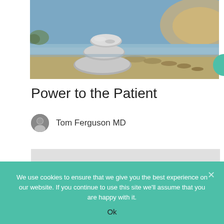[Figure (photo): Stacked balanced stones/rocks on a rocky beach shore at sunset with water and sky in background]
Power to the Patient
Tom Ferguson MD
[Figure (photo): Partial view of a person's face/head shown from above against a light grey background]
We use cookies to ensure that we give you the best experience on our website. If you continue to use this site we'll assume that you are happy with it.
Ok